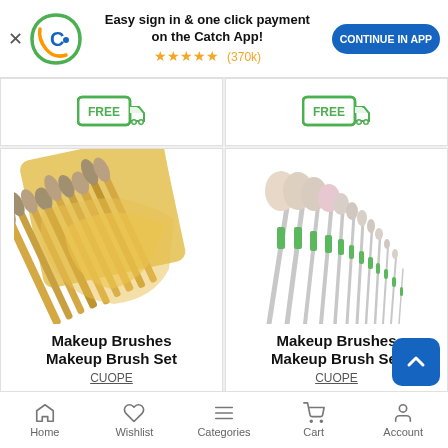[Figure (screenshot): Catch app banner with logo, text 'Easy sign in & one click payment on the Catch App!', star rating (370k), and CONTINUE IN APP button]
[Figure (illustration): Free delivery badge icon (left product)]
[Figure (illustration): Free delivery badge icon (right product)]
[Figure (photo): Makeup brushes set with bamboo/gold handles in yellow roll pouch]
Makeup Brushes Makeup Brush Set
CUOPE
[Figure (photo): Makeup brushes set with green handles and light bristles, arranged in a fan]
Makeup Brushes Makeup Brush Set
CUOPE
Home  Wishlist  Categories  Cart  Account